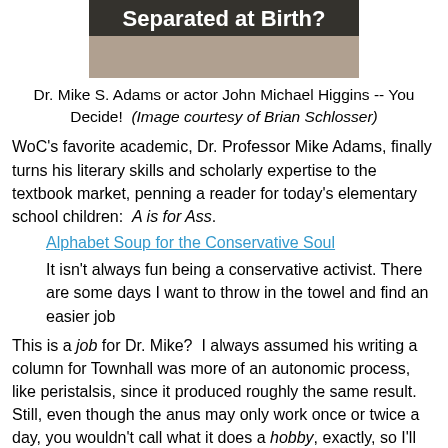[Figure (photo): Photo of two men side by side with text 'Separated at Birth?' overlaid on a dark banner at the top of the image.]
Dr. Mike S. Adams or actor John Michael Higgins -- You Decide!  (Image courtesy of Brian Schlosser)
WoC's favorite academic, Dr. Professor Mike Adams, finally turns his literary skills and scholarly expertise to the textbook market, penning a reader for today's elementary school children:  A is for Ass.
Alphabet Soup for the Conservative Soul
It isn't always fun being a conservative activist. There are some days I want to throw in the towel and find an easier job
This is a job for Dr. Mike?  I always assumed his writing a column for Townhall was more of an autonomic process, like peristalsis, since it produced roughly the same result.  Still, even though the anus may only work once or twice a day, you wouldn't call what it does a hobby, exactly, so I'll concede Dr. Mike's point, if he stipulates that he's less